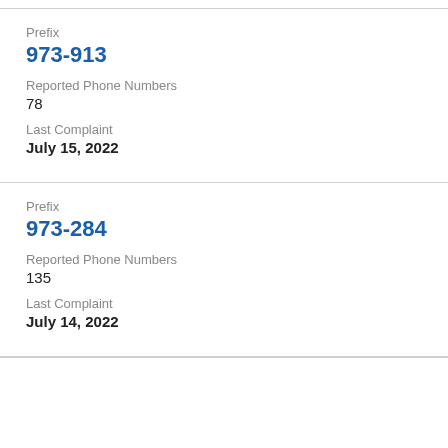Prefix
973-913
Reported Phone Numbers
78
Last Complaint
July 15, 2022
Prefix
973-284
Reported Phone Numbers
135
Last Complaint
July 14, 2022